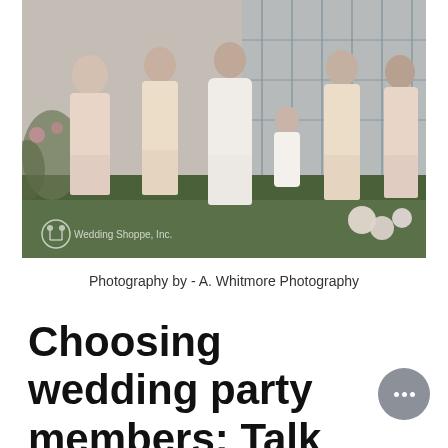[Figure (photo): Wedding party photo showing a bride in a white gown flanked by four bridesmaids in blush/champagne dresses and a flower girl in white. The group stands outdoors in front of a glass building. A 'Wedding Shoppe, Inc.' watermark is visible in the lower left corner. Photography watermark credit to A. Whitmore Photography.]
Photography by - A. Whitmore Photography
Choosing wedding party members: Talk with your fi...